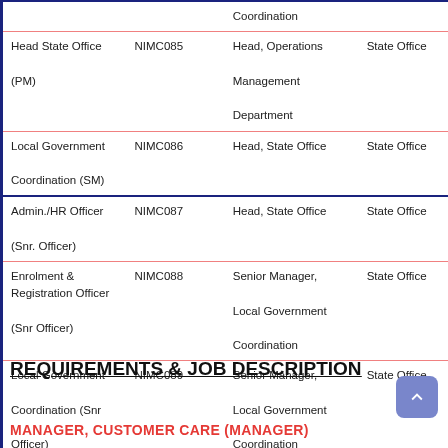| Position | Code | Reports To | Location |
| --- | --- | --- | --- |
|  |  | Coordination |  |
| Head State Office (PM) | NIMC085 | Head, Operations Management Department | State Office |
| Local Government Coordination (SM) | NIMC086 | Head, State Office | State Office |
| Admin./HR Officer (Snr. Officer) | NIMC087 | Head, State Office | State Office |
| Enrolment & Registration Officer (Snr Officer) | NIMC088 | Senior Manager, Local Government Coordination | State Office |
| Local Government Coordination (Snr Officer) | NIMC089 | Senior Manager, Local Government Coordination | State Office |
REQUIREMENTS & JOB DESCRIPTION
MANAGER, CUSTOMER CARE (MANAGER)